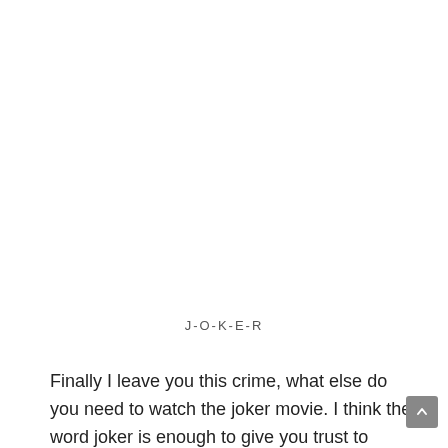J-O-K-E-R
Finally I leave you this crime, what else do you need to watch the joker movie. I think the word joker is enough to give you trust to spend money to watch this god of chaos